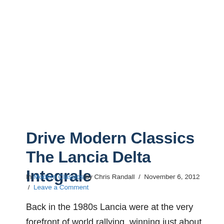Drive Modern Classics The Lancia Delta Integrale
In Modern Classics by Chris Randall / November 6, 2012 / Leave a Comment
Back in the 1980s Lancia were at the very forefront of world rallying, winning just about